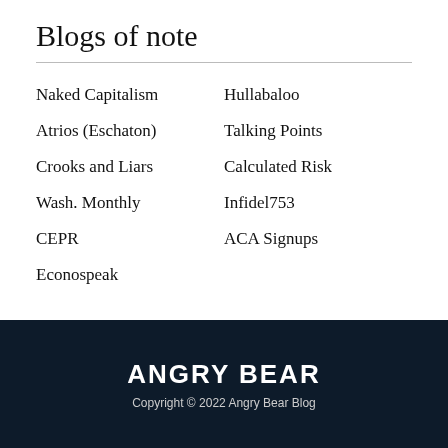Blogs of note
Naked Capitalism
Hullabaloo
Atrios (Eschaton)
Talking Points
Crooks and Liars
Calculated Risk
Wash. Monthly
Infidel753
CEPR
ACA Signups
Econospeak
ANGRY BEAR
Copyright © 2022 Angry Bear Blog